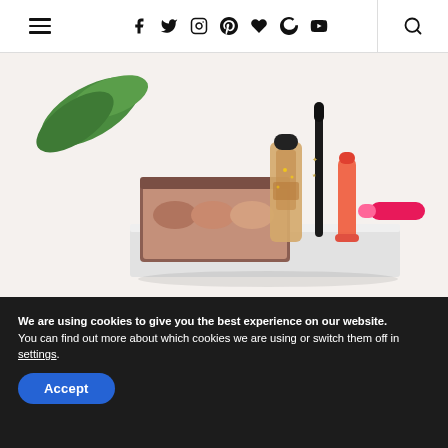Navigation header with hamburger menu, social icons (facebook, twitter, instagram, pinterest, heart, google+, youtube) and search
[Figure (photo): Beauty/cosmetics product flatlay showing an eyeshadow palette in mauve/brown tones, a foundation or serum bottle with gold accents, a black mascara or eyeliner wand, a coral/orange lip product, and a pink lip gloss, arranged on a white platform surface with green tropical leaves in the background]
We are using cookies to give you the best experience on our website.
You can find out more about which cookies we are using or switch them off in settings.
Accept